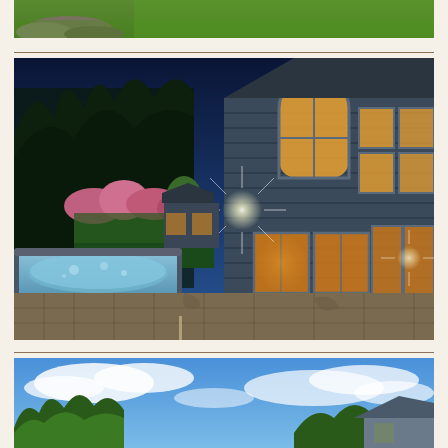[Figure (photo): Partial view of rocky landscape with green lawn, showing just the bottom portion of a photo at the top of the page.]
[Figure (photo): Exterior night photo of a modern multi-story house with large windows glowing warmly from interior lighting, a hot tub/spa in the foreground on a stone patio, surrounded by trees and flowering plants.]
[Figure (photo): Exterior daytime photo showing a wide-angle view with blue sky, white clouds, tall trees, and a partially visible house structure at the bottom right.]